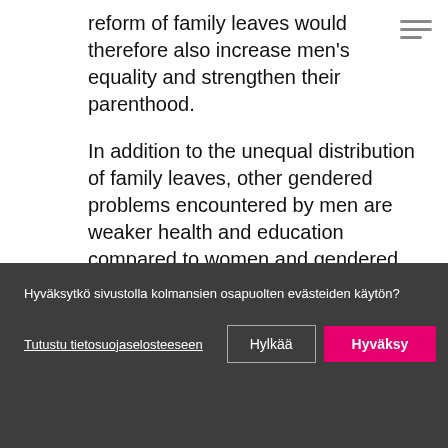reform of family leaves would therefore also increase men's equality and strengthen their parenthood.
In addition to the unequal distribution of family leaves, other gendered problems encountered by men are weaker health and education compared to women and gendered military service. Demolishing narrow gender
Hyväksytkö sivustolla kolmansien osapuolten evästeiden käytön?
Tutustu tietosuojaselosteeseen
Hylkää
Hyväksy